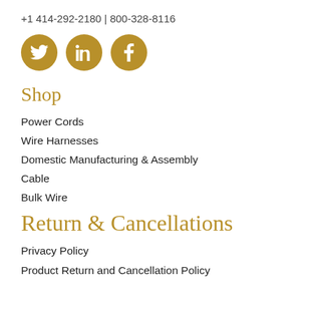+1 414-292-2180 | 800-328-8116
[Figure (infographic): Three gold circular social media icons: Twitter (bird icon), LinkedIn (in icon), Facebook (f icon)]
Shop
Power Cords
Wire Harnesses
Domestic Manufacturing & Assembly
Cable
Bulk Wire
Return & Cancellations
Privacy Policy
Product Return and Cancellation Policy